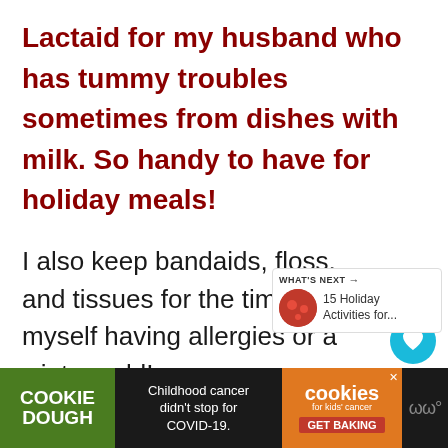Lactaid for my husband who has tummy troubles sometimes from dishes with milk. So handy to have for holiday meals!
I also keep bandaids, floss, and tissues for the times I find myself having allergies or a winter cold!
[Figure (infographic): Social interaction sidebar with teal heart/like button showing count of 2, and a share button. Also a 'What's Next' widget with thumbnail and text '15 Holiday Activities for...']
[Figure (infographic): Advertisement banner for Cookie Dough brand. Green section with 'COOKIE DOUGH' text, middle section with text 'Childhood cancer didn't stop for COVID-19.', orange section with 'cookies for kids cancer GET BAKING', and a close X button. Dark background with logo on right.]